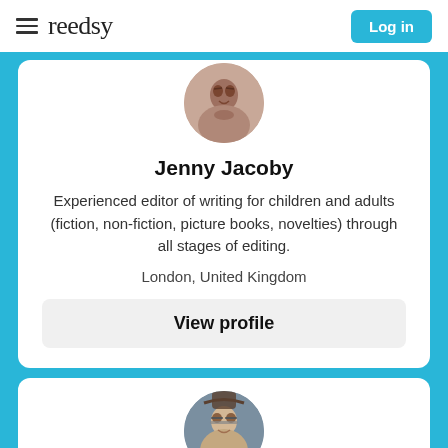reedsy | Log in
[Figure (photo): Circular profile photo of Jenny Jacoby]
Jenny Jacoby
Experienced editor of writing for children and adults (fiction, non-fiction, picture books, novelties) through all stages of editing.
London, United Kingdom
View profile
[Figure (photo): Circular profile photo of second person (man with glasses)]